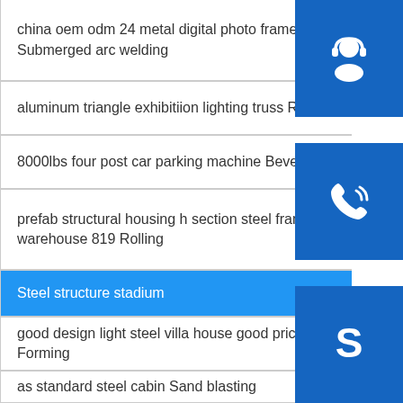china oem odm 24 metal digital photo frame Submerged arc welding
aluminum triangle exhibitiion lighting truss Rolling
8000lbs four post car parking machine Beveling
prefab structural housing h section steel frame warehouse 819 Rolling
Steel structure stadium
good design light steel villa house good price Forming
as standard steel cabin Sand blasting
[Figure (illustration): Customer service icon - person with headset on blue square button]
[Figure (illustration): Phone/call icon on blue square button]
[Figure (illustration): Skype icon - S letter on blue square button]